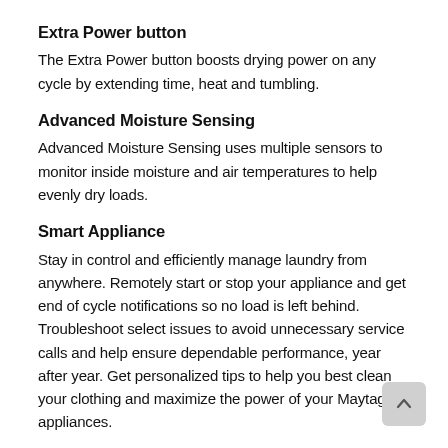Extra Power button
The Extra Power button boosts drying power on any cycle by extending time, heat and tumbling.
Advanced Moisture Sensing
Advanced Moisture Sensing uses multiple sensors to monitor inside moisture and air temperatures to help evenly dry loads.
Smart Appliance
Stay in control and efficiently manage laundry from anywhere. Remotely start or stop your appliance and get end of cycle notifications so no load is left behind. Troubleshoot select issues to avoid unnecessary service calls and help ensure dependable performance, year after year. Get personalized tips to help you best clean your clothing and maximize the power of your Maytag® appliances.